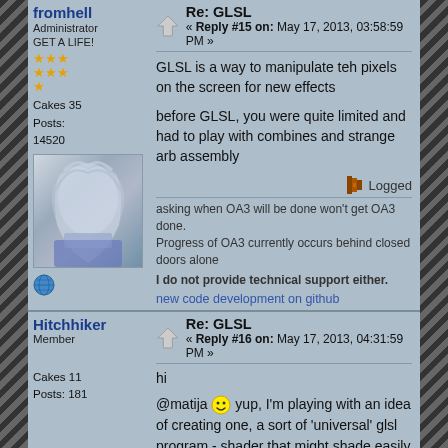fromhell
Administrator
GET A LIFE!
Cakes 35
Posts: 14520
Re: GLSL
« Reply #15 on: May 17, 2013, 03:58:59 PM »
GLSL is a way to manipulate teh pixels on the screen for new effects
before GLSL, you were quite limited and had to play with combines and strange arb assembly
Logged
asking when OA3 will be done won't get OA3 done.
Progress of OA3 currently occurs behind closed doors alone
I do not provide technical support either.
new code development on github
Hitchhiker
Member
Cakes 11
Posts: 181
Re: GLSL
« Reply #16 on: May 17, 2013, 04:31:59 PM »
hi
@matija yup, I'm playing with an idea of creating one, a sort of 'universal' glsl program - shader that might shade easily an entire map - could be a good thing for defrag - to be seen and tested